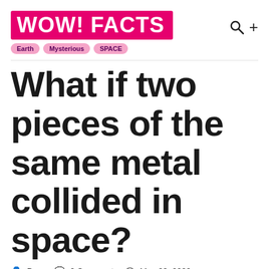WOW! FACTS
Earth  Mysterious  SPACE
What if two pieces of the same metal collided in space?
Dany  0 Comments  May 28, 2022